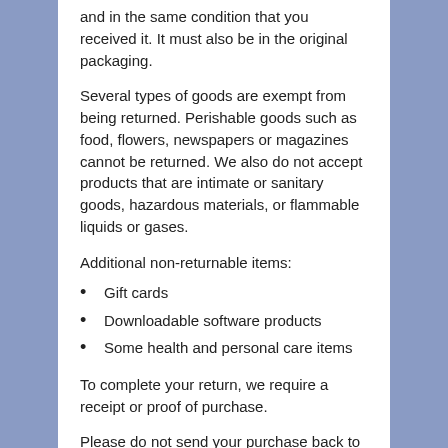and in the same condition that you received it. It must also be in the original packaging.
Several types of goods are exempt from being returned. Perishable goods such as food, flowers, newspapers or magazines cannot be returned. We also do not accept products that are intimate or sanitary goods, hazardous materials, or flammable liquids or gases.
Additional non-returnable items:
Gift cards
Downloadable software products
Some health and personal care items
To complete your return, we require a receipt or proof of purchase.
Please do not send your purchase back to the manufacturer.